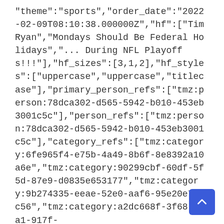"theme":"sports","order_date":"2022-02-09T08:10:38.000000Z","hf":["Tim Ryan","Mondays Should Be Federal Holidays","... During NFL Playoffs!!!"],"hf_sizes":[3,1,2],"hf_styles":["uppercase","uppercase","titlecase"],"primary_person_refs":["tmz:person:78dca302-d565-5942-b010-453eb3001c5c"],"person_refs":["tmz:person:78dca302-d565-5942-b010-453eb3001c5c"],"category_refs":["tmz:category:6fe965f4-e75b-4a49-8b6f-8e8392a10a6e","tmz:category:90299cbf-60df-5f5d-87e9-d0835e653177","tmz:category:9b274335-eeae-52e0-aaf6-95e20e72dc56","tmz:category:a2dc668f-3f68-5da1-917f-